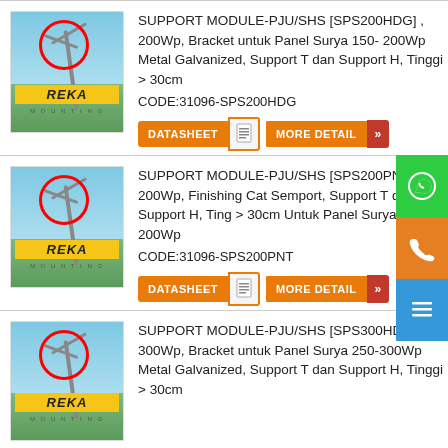[Figure (photo): REKA MOUNTING solar panel support module product image showing a street light pole with solar panel bracket, red circle highlight, REKA logo]
SUPPORT MODULE-PJU/SHS [SPS200HDG] , 200Wp, Bracket untuk Panel Surya 150- 200Wp Metal Galvanized, Support T dan Support H, Tinggi > 30cm
CODE:31096-SPS200HDG
[Figure (photo): REKA MOUNTING solar panel support module product image showing a street light pole with solar panel bracket, red circle highlight, REKA logo]
SUPPORT MODULE-PJU/SHS [SPS200PNT] , 200Wp, Finishing Cat Semport, Support T dan Support H, Ting > 30cm Untuk Panel Surya 150- 200Wp
CODE:31096-SPS200PNT
[Figure (photo): REKA MOUNTING solar panel support module product image showing a street light pole with solar panel bracket, red circle highlight, REKA logo]
SUPPORT MODULE-PJU/SHS [SPS300HDG] , 300Wp, Bracket untuk Panel Surya 250-300Wp Metal Galvanized, Support T dan Support H, Tinggi > 30cm